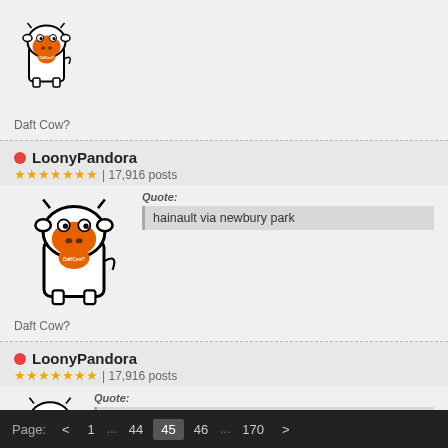[Figure (illustration): Partial view of DaftCow avatar - cartoon cow with orange face and white body]
Daft Cow?
LoonyPandora | 17,916 posts
Quote: hainault via newbury park
[Figure (illustration): DaftCow avatar - cartoon cow with orange face and white body]
Daft Cow?
LoonyPandora | 17,916 posts
Quote: hairy pivot method
[Figure (illustration): Partial DaftCow avatar at bottom]
Page: < 1 ... 44 45 46 ... 170 >